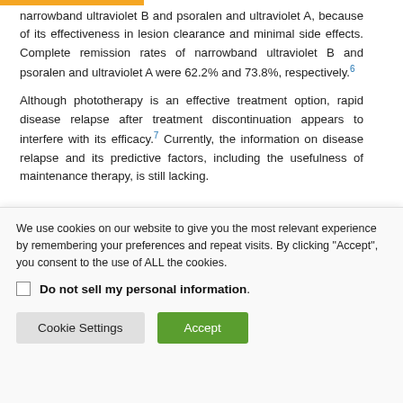narrowband ultraviolet B and psoralen and ultraviolet A, because of its effectiveness in lesion clearance and minimal side effects. Complete remission rates of narrowband ultraviolet B and psoralen and ultraviolet A were 62.2% and 73.8%, respectively.6
Although phototherapy is an effective treatment option, rapid disease relapse after treatment discontinuation appears to interfere with its efficacy.7 Currently, the information on disease relapse and its predictive factors, including the usefulness of maintenance therapy, is still lacking.
We use cookies on our website to give you the most relevant experience by remembering your preferences and repeat visits. By clicking "Accept", you consent to the use of ALL the cookies.
Do not sell my personal information.